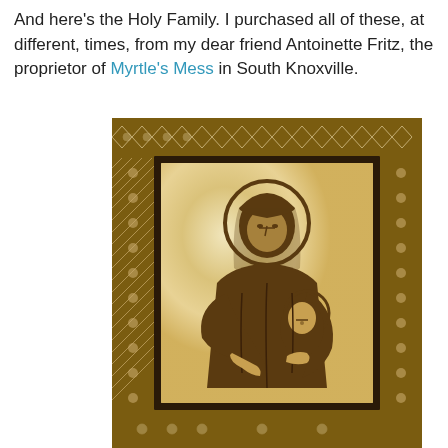And here's the Holy Family.  I purchased all of these, at different, times, from my dear friend Antoinette Fritz, the proprietor of Myrtle's Mess in South Knoxville.
[Figure (photo): A decorative religious icon on a mother-of-pearl background set within an ornate inlaid wooden frame with geometric patterns. The icon depicts the Virgin Mary (Madonna) holding the Christ child, rendered in a Byzantine style with dark brown lines on the iridescent shell surface.]